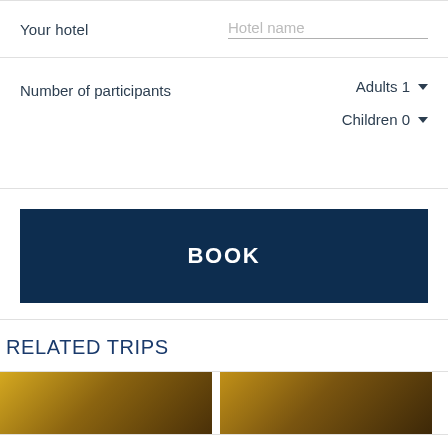Your hotel
Hotel name
Number of participants
Adults 1
Children 0
BOOK
RELATED TRIPS